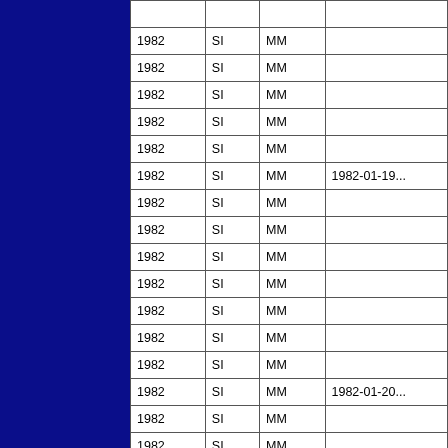| Year | Col2 | Col3 | Date |
| --- | --- | --- | --- |
| 1982 | SI | MM |  |
| 1982 | SI | MM |  |
| 1982 | SI | MM |  |
| 1982 | SI | MM |  |
| 1982 | SI | MM |  |
| 1982 | SI | MM | 1982-01-19... |
| 1982 | SI | MM |  |
| 1982 | SI | MM |  |
| 1982 | SI | MM |  |
| 1982 | SI | MM |  |
| 1982 | SI | MM |  |
| 1982 | SI | MM |  |
| 1982 | SI | MM |  |
| 1982 | SI | MM | 1982-01-20... |
| 1982 | SI | MM |  |
| 1982 | SI | MM |  |
| 1982 | SI | MM |  |
| 1982 | SI | MM |  |
| 1982 | SI | MM |  |
| 1982 | SI | MM |  |